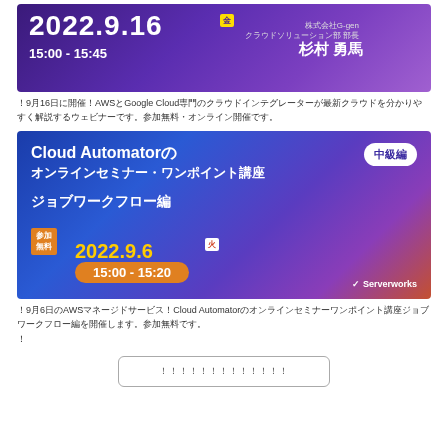[Figure (illustration): Banner for webinar on 2022.9.16 15:00-15:45, featuring G-gen Cloud Solutions department head Sugimura Yuma, purple gradient background]
9月16日に開催するAWS・Google Cloud専門のクラウドインテグレーターが最新クラウドを分かりやすく解説するウェビナー
[Figure (illustration): Banner for Cloud Automator online seminar one-point lecture intermediate level, job workflow edition, 2022.9.6 15:00-15:20, Serverworks]
9月6日のAWSマネージドサービスCloud Automatorのオンラインセミナーワンポイント講座ジョブワークフロー編
。
セミナー一覧をもっと見る